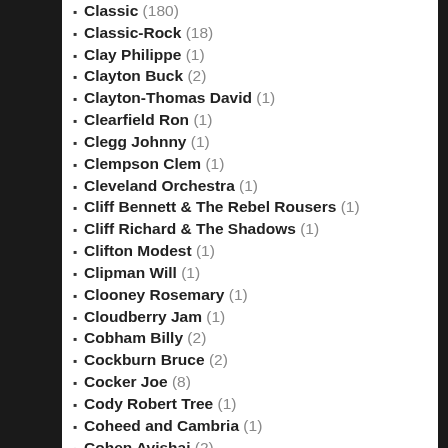Classic (180)
Classic-Rock (18)
Clay Philippe (1)
Clayton Buck (2)
Clayton-Thomas David (1)
Clearfield Ron (1)
Clegg Johnny (1)
Clempson Clem (1)
Cleveland Orchestra (1)
Cliff Bennett & The Rebel Rousers (1)
Cliff Richard & The Shadows (1)
Clifton Modest (1)
Clipman Will (1)
Clooney Rosemary (1)
Cloudberry Jam (1)
Cobham Billy (2)
Cockburn Bruce (2)
Cocker Joe (8)
Cody Robert Tree (1)
Coheed and Cambria (1)
Cohen Avishai (2)
Cohen Leonard (6)